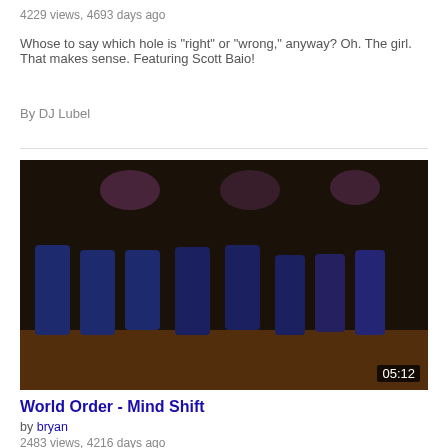4229 views, 4693 days ago
Whose to say which hole is "right" or "wrong," anyway? Oh. The girl. That makes sense. Featuring Scott Baio!
By DJ Lubel
[Figure (screenshot): Video thumbnail showing performers in dark suits on a stage, with duration stamp 05:12]
World Order - Mind Shift
by bryan
2483 views, 4216 days ago
Genki Sudo is a retired mixed martial artist that is also known in part for his
[Figure (screenshot): Partially visible video thumbnail with blurry image]